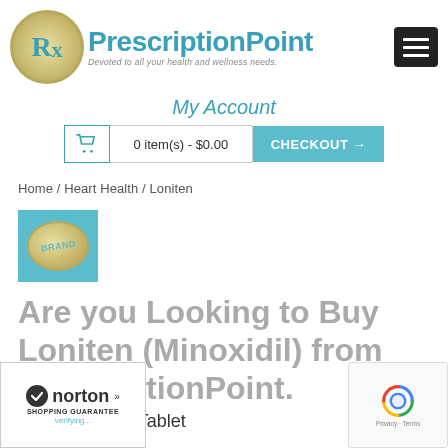[Figure (logo): PrescriptionPoint logo with Rx symbol in gold oval and teal text. Tagline: Devoted to all your health and wellness needs.]
My Account
0 item(s) - $0.00
CHECKOUT →
Home / Heart Health / Loniten
[Figure (illustration): Brand badge - teal square with gold oval pill labeled BRAND]
Are you Looking to Buy Loniten (Minoxidil) from PrescriptionPoint.
Formulation : Tablet
[Figure (logo): Norton Shopping Guarantee badge with verifying text]
[Figure (logo): reCAPTCHA Privacy - Terms badge]